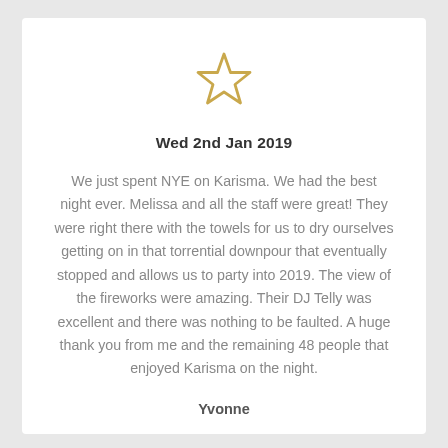[Figure (illustration): A single outlined star icon in golden/yellow color, no fill inside, just the stroke outline]
Wed 2nd Jan 2019
We just spent NYE on Karisma. We had the best night ever. Melissa and all the staff were great! They were right there with the towels for us to dry ourselves getting on in that torrential downpour that eventually stopped and allows us to party into 2019. The view of the fireworks were amazing. Their DJ Telly was excellent and there was nothing to be faulted. A huge thank you from me and the remaining 48 people that enjoyed Karisma on the night.
Yvonne